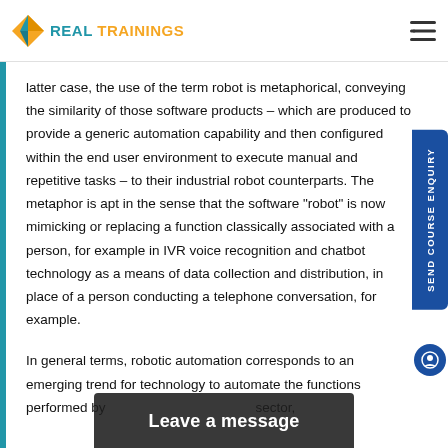REAL TRAININGS
latter case, the use of the term robot is metaphorical, conveying the similarity of those software products – which are produced to provide a generic automation capability and then configured within the end user environment to execute manual and repetitive tasks – to their industrial robot counterparts. The metaphor is apt in the sense that the software "robot" is now mimicking or replacing a function classically associated with a person, for example in IVR voice recognition and chatbot technology as a means of data collection and distribution, in place of a person conducting a telephone conversation, for example.
In general terms, robotic automation corresponds to an emerging trend for technology to automate the functions performed by humans across the sector,